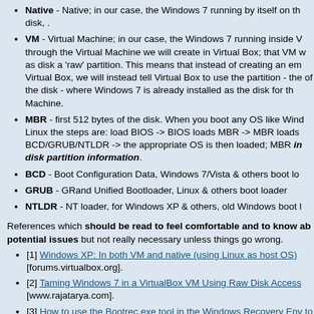Native - Native; in our case, the Windows 7 running by itself on the disk, .
VM - Virtual Machine; in our case, the Windows 7 running inside VM through the Virtual Machine we will create in Virtual Box; that VM will use as disk a 'raw' partition. This means that instead of creating an emulated Virtual Box, we will instead tell Virtual Box to use the partition - the part of the disk - where Windows 7 is already installed as the disk for the Virtual Machine.
MBR - first 512 bytes of the disk. When you boot any OS like Windows or Linux the steps are: load BIOS -> BIOS loads MBR -> MBR loads BCD/GRUB/NTLDR -> the appropriate OS is then loaded; MBR includes disk partition information.
BCD - Boot Configuration Data, Windows 7/Vista & others boot loader
GRUB - GRand Unified Bootloader, Linux & others boot loader
NTLDR - NT loader, for Windows XP & others, old Windows boot loader
References which should be read to feel comfortable and to know about potential issues but not really necessary unless things go wrong.
[1] Windows XP: In both VM and native (using Linux as host OS) [forums.virtualbox.org].
[2] Taming Windows 7 in a VirtualBox VM Using Raw Disk Access [www.rajatarya.com].
[3] How to use the Bootrec.exe tool in the Windows Recovery Environment to troubleshoot and repair startup issues in Windows